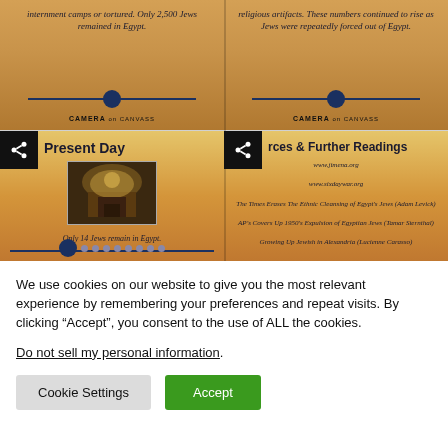[Figure (screenshot): Top-left card: text about internment camps, Only 2,500 Jews remained in Egypt. Sandy/pyramid background with CAMERA logo and navigation dot.]
[Figure (screenshot): Top-right card: text about religious artifacts, numbers continued to rise as Jews were forced out of Egypt. Sandy/pyramid background with CAMERA logo and navigation dot.]
[Figure (screenshot): Bottom-left card: 'Present Day' title with photo of ornate interior, caption 'Only 14 Jews remain in Egypt.' Navigation dots at bottom.]
[Figure (screenshot): Bottom-right card: 'rces & Further Readings' title with links: www.jimena.org, www.sixdaywar.org, The Times Erases The Ethnic Cleansing of Egypt's Jews (Adam Levick), AP's Covers Up 1950's Expulsion of Egyptian Jews (Tamar Sternthal), Growing Up Jewish in Alexandria (Lucienne Carasso).]
We use cookies on our website to give you the most relevant experience by remembering your preferences and repeat visits. By clicking “Accept”, you consent to the use of ALL the cookies.
Do not sell my personal information.
Cookie Settings   Accept